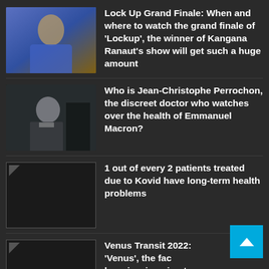[Figure (photo): Thumbnail image of a woman in blue and gold costume]
Lock Up Grand Finale: When and where to watch the grand finale of 'Lockup', the winner of Kangana Ranaut's show will get such a huge amount
[Figure (photo): Thumbnail image of a man in military uniform]
Who is Jean-Christophe Perrochon, the discreet doctor who watches over the health of Emmanuel Macron?
[Figure (photo): Broken image placeholder thumbnail]
1 out of every 2 patients treated due to Kovid have long-term health problems
[Figure (photo): Broken image placeholder thumbnail]
Venus Transit 2022: 'Venus', the face of luxuries, is going to change the zodiac